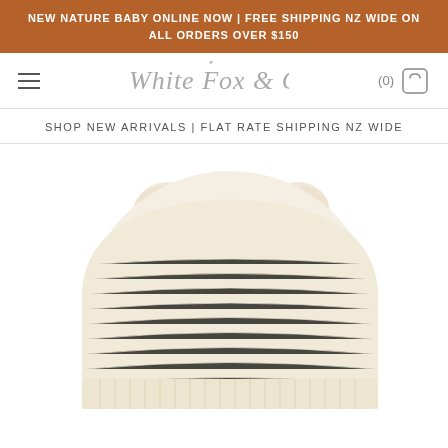NEW NATURE BABY ONLINE NOW | FREE SHIPPING NZ WIDE ON ALL ORDERS OVER $150
[Figure (logo): White Fox & Co cursive logo in grey]
SHOP NEW ARRIVALS | FLAT RATE SHIPPING NZ WIDE
[Figure (photo): Cream knitted baby beanie hat with two pom-pom ears on top, photographed from the front on a white background]